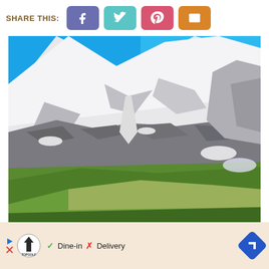SHARE THIS:
[Figure (screenshot): Social share buttons: Facebook (purple), Twitter (teal), Pinterest (red/pink), Email (orange)]
[Figure (photo): Snow-capped mountain with rocky terrain and green grassy slopes in the foreground, blue sky above]
[Figure (screenshot): Advertisement bar with TopGolf logo, Dine-in checkmark, Delivery X mark, and navigation arrow]